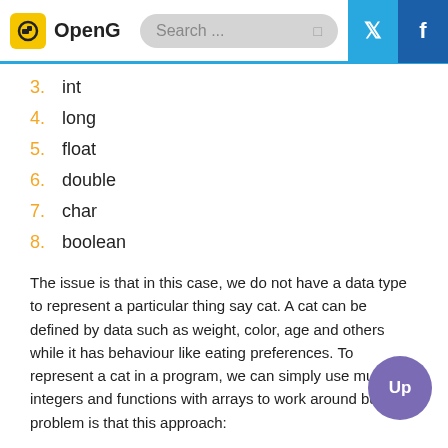OpenG | Search ... | Twitter | Facebook
3. int
4. long
5. float
6. double
7. char
8. boolean
The issue is that in this case, we do not have a data type to represent a particular thing say cat. A cat can be defined by data such as weight, color, age and others while it has behaviour like eating preferences. To represent a cat in a program, we can simply use multiple integers and functions with arrays to work around but the problem is that this approach:
is not scalable when we need dynamic number of instances (cats)